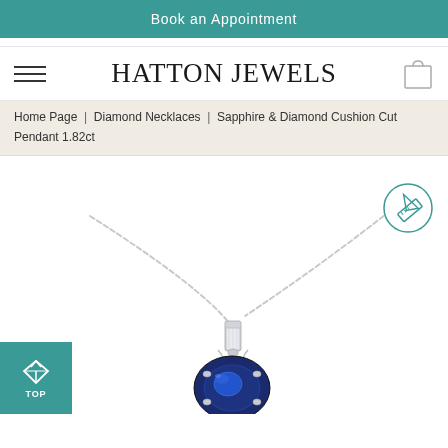Book an Appointment
HATTON JEWELS
Home Page  |  Diamond Necklaces  |  Sapphire & Diamond Cushion Cut Pendant 1.82ct
[Figure (photo): A sapphire and diamond cushion cut pendant on a silver chain, shown against a white background. The pendant features a deep blue cushion-cut sapphire stone with diamond accents in a silver setting. A circular ruler/resize icon is visible in the top right of the image.]
[Figure (logo): Teal square 'TOP' button with a diamond icon and upward arrow in the bottom left corner.]